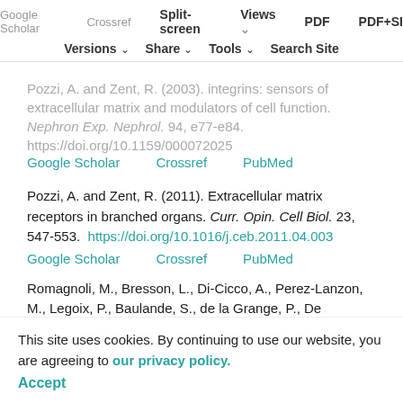Google Scholar  Crossref  Split-screen  Views  PDF  PDF+SI  Versions  Share  Tools  Search Site
Pozzi, A. and Zent, R. (2003). Integrins: sensors of extracellular matrix and modulators of cell function. Nephron Exp. Nephrol. 94, e77-e84. https://doi.org/10.1159/000072025
Google Scholar  Crossref  PubMed
Pozzi, A. and Zent, R. (2011). Extracellular matrix receptors in branched organs. Curr. Opin. Cell Biol. 23, 547-553. https://doi.org/10.1016/j.ceb.2011.04.003
Google Scholar  Crossref  PubMed
Romagnoli, M., Bresson, L., Di-Cicco, A., Perez-Lanzon, M., Legoix, P., Baulande, S., de la Grange, P., De Arcangelis, A., Georges-Labouesse, E., Sonnenberg, A.
This site uses cookies. By continuing to use our website, you are agreeing to our privacy policy. Accept